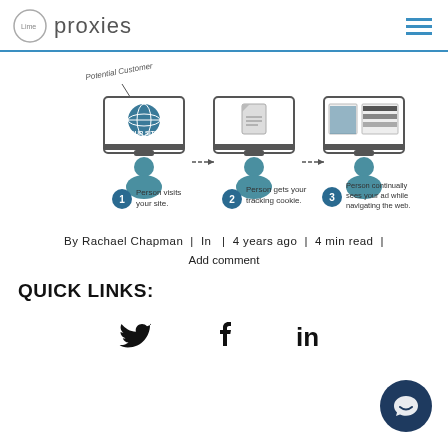Lime proxies
[Figure (infographic): Three-step retargeting infographic: Step 1 - Person visits your site. Step 2 - Person gets your tracking cookie. Step 3 - Person continually sees your ad while navigating the web.]
By Rachael Chapman | In | 4 years ago | 4 min read |
Add comment
QUICK LINKS:
[Figure (illustration): Social media icons: Twitter, Facebook, LinkedIn]